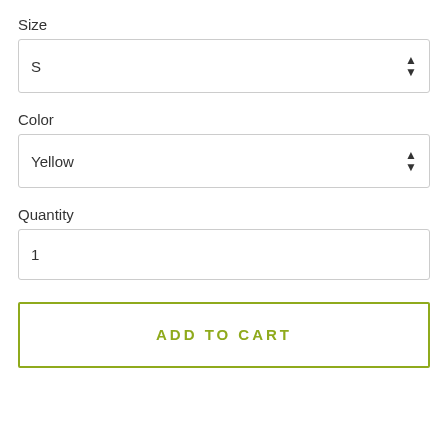Size
S
Color
Yellow
Quantity
1
ADD TO CART